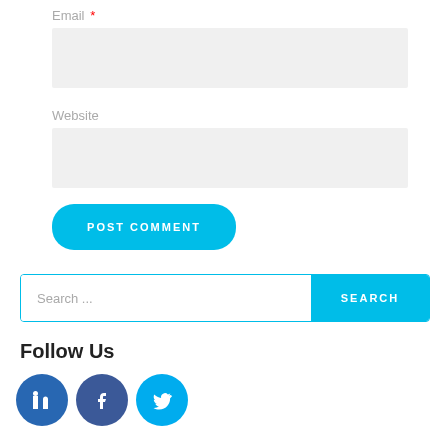Email *
Website
POST COMMENT
Search ...
SEARCH
Follow Us
[Figure (illustration): Social media icons: LinkedIn, Facebook, Twitter]